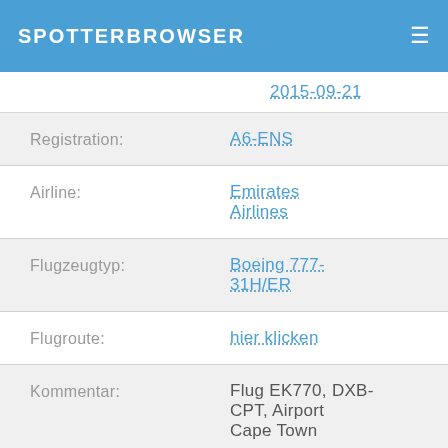SPOTTERBROWSER
2015-09-21
| Field | Value |
| --- | --- |
| Registration: | A6-ENS |
| Airline: | Emirates Airlines |
| Flugzeugtyp: | Boeing 777-31H/ER |
| Flugroute: | hier klicken |
| Kommentar: | Flug EK770, DXB-CPT, Airport Cape Town |